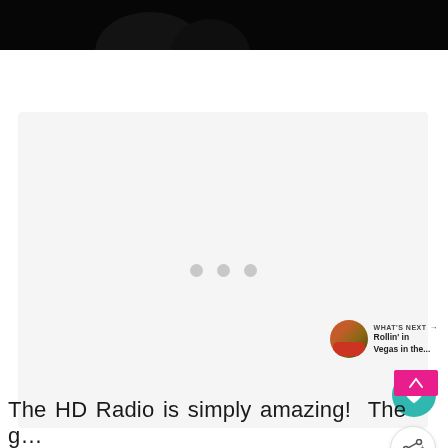[Figure (photo): Dark top portion of a webpage showing a black image with a silhouette]
[Figure (screenshot): Light grey media player area with three loading dots centered, favorite heart button (teal), share button, what's next thumbnail with Rollin' in Vegas in the... label, and a pink close/scroll-to-top button]
The HD Radio is simply amazing!  The g...